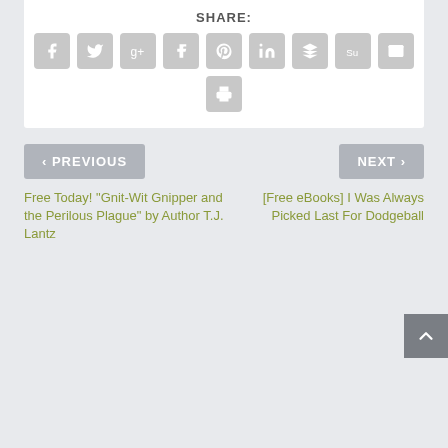SHARE:
[Figure (infographic): Social sharing buttons: Facebook, Twitter, Google+, Tumblr, Pinterest, LinkedIn, Buffer, StumbleUpon, Email, Print]
< PREVIOUS
NEXT >
Free Today! “Gnit-Wit Gnipper and the Perilous Plague” by Author T.J. Lantz
[Free eBooks] I Was Always Picked Last For Dodgeball